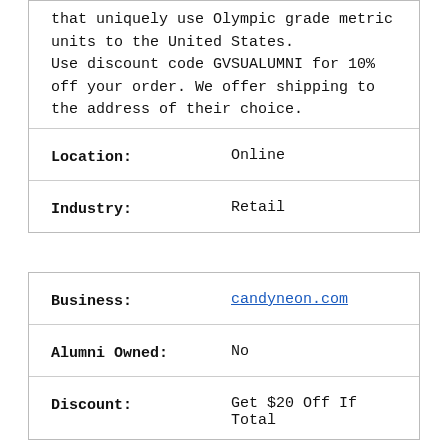that uniquely use Olympic grade metric units to the United States. Use discount code GVSUALUMNI for 10% off your order. We offer shipping to the address of their choice.
| Location: | Online |
| Industry: | Retail |
| Business: | candyneon.com |
| Alumni Owned: | No |
| Discount: | Get $20 Off If Total |